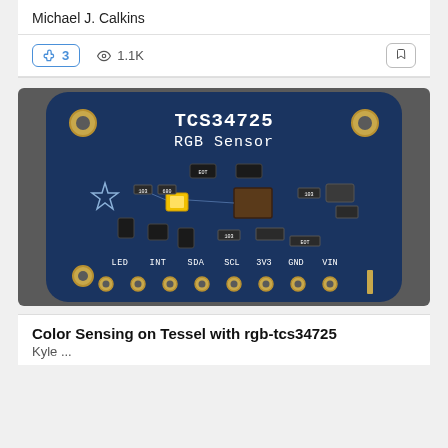Michael J. Calkins
👍 3   👁 1.1K
[Figure (photo): Photo of Adafruit TCS34725 RGB Sensor breakout board on a dark background. The blue PCB shows the sensor chip, LED, resistors, capacitors, and pin labels: LED INT SDA SCL 3V3 GND VIN. The board has mounting holes in each corner and gold through-hole pads at the bottom.]
Color Sensing on Tessel with rgb-tcs34725
Kyle ...